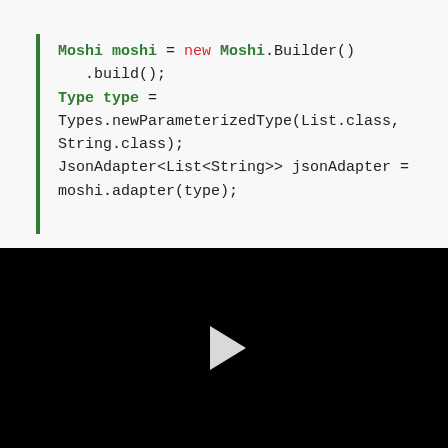[Figure (screenshot): Code snippet panel showing Java code: Moshi moshi = new Moshi.Builder().build(); Type type = Types.newParameterizedType(List.class, String.class); JsonAdapter<List<String>> jsonAdapter = moshi.adapter(type);]
[Figure (screenshot): Black video player panel with white play button triangle in the center]